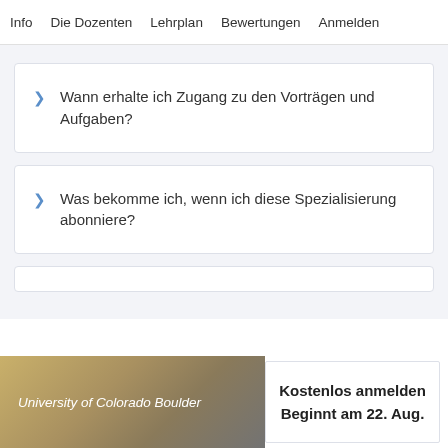Info   Die Dozenten   Lehrplan   Bewertungen   Anmelden
Wann erhalte ich Zugang zu den Vorträgen und Aufgaben?
Was bekomme ich, wenn ich diese Spezialisierung abonniere?
University of Colorado Boulder   Kostenlos anmelden   Beginnt am 22. Aug.